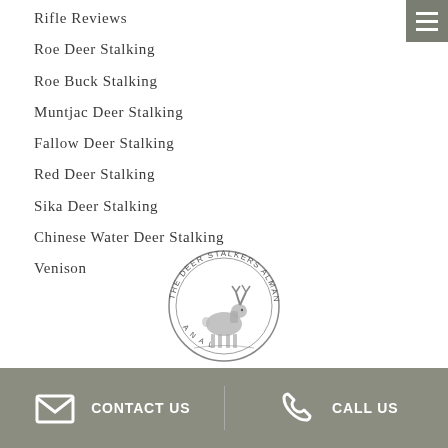Rifle Reviews
Roe Deer Stalking
Roe Buck Stalking
Muntjac Deer Stalking
Fallow Deer Stalking
Red Deer Stalking
Sika Deer Stalking
Chinese Water Deer Stalking
Venison
[Figure (logo): The Deer Stalkers Almanac circular logo with a stag illustration in the center]
CONTACT US  |  CALL US